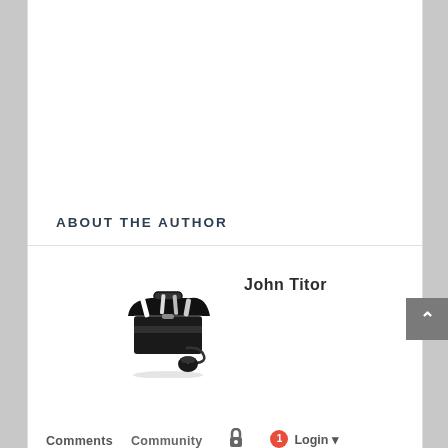ABOUT THE AUTHOR
[Figure (illustration): Black and white illustration of a toolbox with tools and a computer mouse]
John Titor
Comments   Community   Login